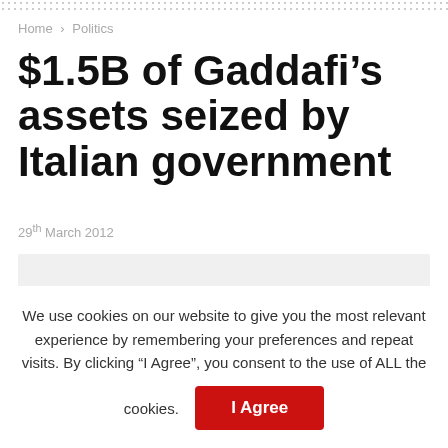Home > Politics
$1.5B of Gaddafi's assets seized by Italian government
29th March 2012
[Figure (photo): Gray placeholder image area for article photo]
We use cookies on our website to give you the most relevant experience by remembering your preferences and repeat visits. By clicking "I Agree", you consent to the use of ALL the cookies.